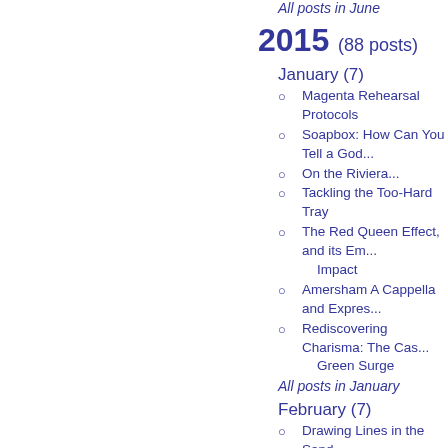All posts in June
2015 (88 posts)
January (7)
Magenta Rehearsal Protocols
Soapbox: How Can You Tell a God...
On the Riviera...
Tackling the Too-Hard Tray
The Red Queen Effect, and its Em... Impact
Amersham A Cappella and Expres...
Rediscovering Charisma: The Cas... Green Surge
All posts in January
February (7)
Drawing Lines in the Sand
The Dangerous Power of the Cond...
Training Conductors and Musician...
Making Dynamics Dynamic
On Musicianship and Musicality
Impostor Syndrome and Conducti...
MasterMixing it Up
All posts in February
March (8)
On the Art of Listening
Gearing Up in Guildford
The Quandary of the Abandoned A...
A Cappella Spring Fest...